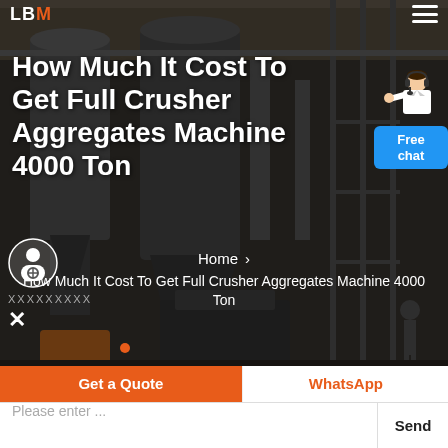LBM
How Much It Cost To Get Full Crusher Aggregates Machine 4000 Ton
[Figure (photo): Industrial aggregate crusher plant interior with machinery, silos, and scaffolding in a large warehouse setting, dark overlay]
Home > How Much It Cost To Get Full Crusher Aggregates Machine 4000 Ton
[Figure (illustration): Support/chat agent avatar icon with X close button below]
Get a Quote
WhatsApp
Please enter ...
Send